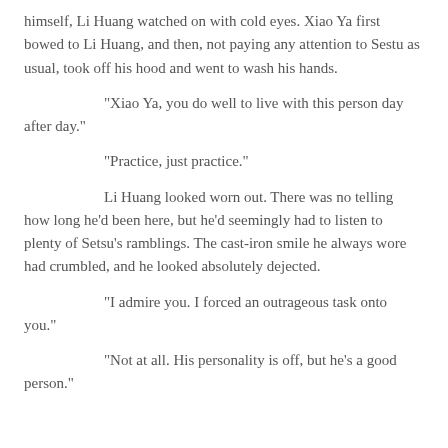himself, Li Huang watched on with cold eyes. Xiao Ya first bowed to Li Huang, and then, not paying any attention to Sestu as usual, took off his hood and went to wash his hands.
“Xiao Ya, you do well to live with this person day after day.”
“Practice, just practice.”
Li Huang looked worn out. There was no telling how long he'd been here, but he'd seemingly had to listen to plenty of Setsu's ramblings. The cast-iron smile he always wore had crumbled, and he looked absolutely dejected.
“I admire you. I forced an outrageous task onto you.”
“Not at all. His personality is off, but he’s a good person.”